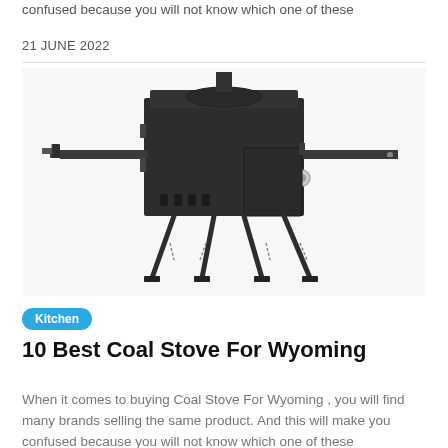confused because you will not know which one of these
21 JUNE 2022
[Figure (photo): A black portable camp wood/coal stove with two fold-out side shelves, ventilation slots, a dial knob, and folding metal legs with chain stabilizers, shown on a white background.]
Kitchen
10 Best Coal Stove For Wyoming
When it comes to buying Coal Stove For Wyoming , you will find many brands selling the same product. And this will make you confused because you will not know which one of these